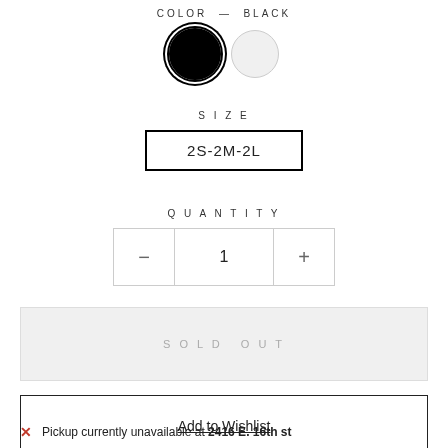COLOR — BLACK
[Figure (illustration): Two circular color swatches: a black filled circle with selection ring on the left, and a light gray (white) circle on the right.]
SIZE
2S-2M-2L
QUANTITY
[Figure (other): Quantity selector control with minus button, value '1', and plus button, bordered by a thin gray rectangle.]
SOLD OUT
Add to Wishlist
Pickup currently unavailable at 2416 E. 16th st